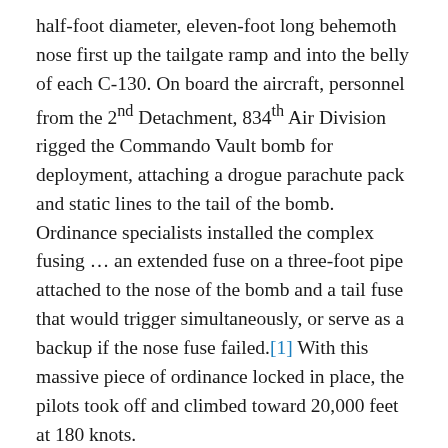half-foot diameter, eleven-foot long behemoth nose first up the tailgate ramp and into the belly of each C-130. On board the aircraft, personnel from the 2nd Detachment, 834th Air Division rigged the Commando Vault bomb for deployment, attaching a drogue parachute pack and static lines to the tail of the bomb. Ordinance specialists installed the complex fusing … an extended fuse on a three-foot pipe attached to the nose of the bomb and a tail fuse that would trigger simultaneously, or serve as a backup if the nose fuse failed.[1] With this massive piece of ordinance locked in place, the pilots took off and climbed toward 20,000 feet at 180 knots.